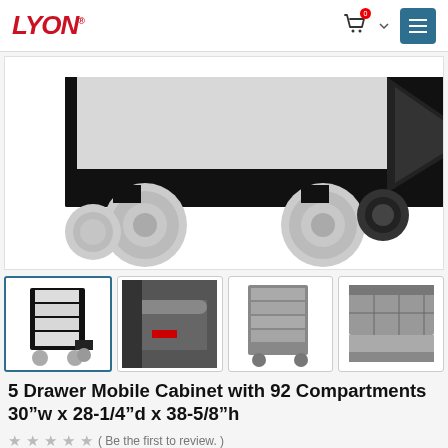LYON
[Figure (photo): Close-up bottom view of a mobile tool cabinet showing black metal body and grey caster wheels on white background]
[Figure (photo): Thumbnail 1: Full view of 5-drawer mobile cabinet in black and grey with casters]
[Figure (photo): Thumbnail 2: Close-up corner detail of cabinet top handle and red label]
[Figure (photo): Thumbnail 3: Front view of grey 5-drawer mobile cabinet with casters]
[Figure (photo): Thumbnail 4: Open drawer view showing compartment dividers inside cabinet]
5 Drawer Mobile Cabinet with 92 Compartments 30”w x 28-1/4”d x 38-5/8”h
( Be the first to review. )